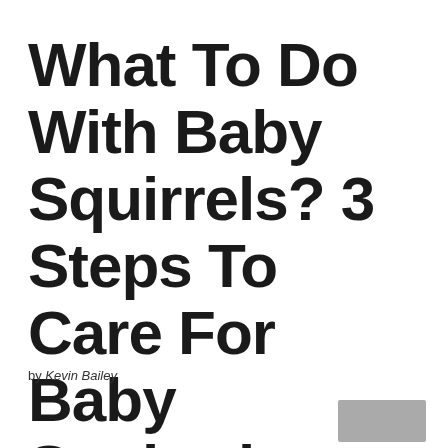What To Do With Baby Squirrels? 3 Steps To Care For Baby Squirrels
by Kevin Bailey